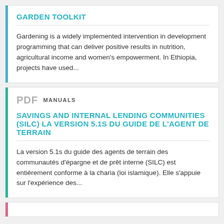GARDEN TOOLKIT
Gardening is a widely implemented intervention in development programming that can deliver positive results in nutrition, agricultural income and women's empowerment. In Ethiopia, projects have used...
PDF  MANUALS
SAVINGS AND INTERNAL LENDING COMMUNITIES (SILC) LA VERSION 5.1S DU GUIDE DE L'AGENT DE TERRAIN
La version 5.1s du guide des agents de terrain des communautés d'épargne et de prêt interne (SILC) est entièrement conforme à la charia (loi islamique). Elle s'appuie sur l'expérience des...